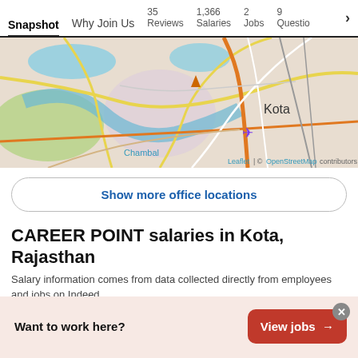Snapshot | Why Join Us | 35 Reviews | 1,366 Salaries | 2 Jobs | 9 Questions >
[Figure (map): OpenStreetMap map showing the Kota area in Rajasthan, India, with roads, rivers, and landmarks. Labels include 'Kota', 'Chambal', 'Leaflet | © OpenStreetMap contributors'. A purple airplane icon and triangle markers are visible.]
Show more office locations
CAREER POINT salaries in Kota, Rajasthan
Salary information comes from data collected directly from employees and jobs on Indeed.
Graph
Want to work here?
View jobs →